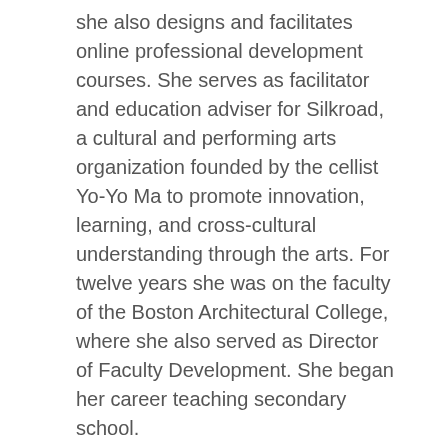she also designs and facilitates online professional development courses. She serves as facilitator and education adviser for Silkroad, a cultural and performing arts organization founded by the cellist Yo-Yo Ma to promote innovation, learning, and cross-cultural understanding through the arts. For twelve years she was on the faculty of the Boston Architectural College, where she also served as Director of Faculty Development. She began her career teaching secondary school.
Tina Blythe is the co-author of a number of books (all published by Teachers College Press, New York), including Facilitating for Learning (2015); Looking Together at Student Work, 3rd Edition (2015); The Facilitator's Book of Questions (2004); and Teaching as Inquiry: Asking Hard Questions to Improve Practice and Student Achievement (2004). She is